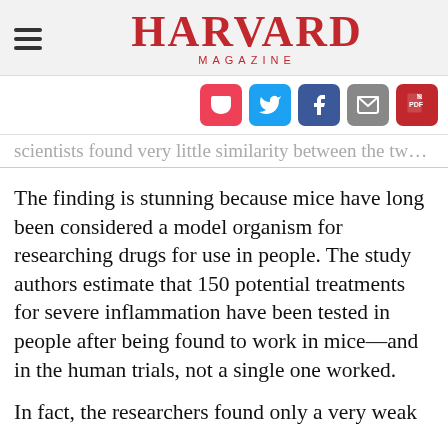HARVARD MAGAZINE
[Figure (other): Social sharing icons: Pocket (red), Twitter (blue), Facebook (dark blue), Mail (grey), PDF (red)]
scientists found very little similarity between the two species.
The finding is stunning because mice have long been considered a model organism for researching drugs for use in people. The study authors estimate that 150 potential treatments for severe inflammation have been tested in people after being found to work in mice—and in the human trials, not a single one worked.
In fact, the researchers found only a very weak